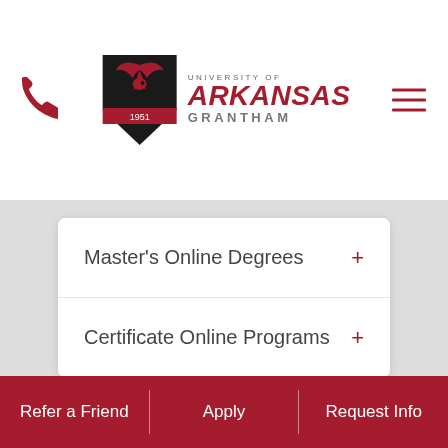[Figure (logo): University of Arkansas Grantham logo with phoenix mascot and text]
Master's Online Degrees +
Certificate Online Programs +
Refer a Friend | Apply | Request Info